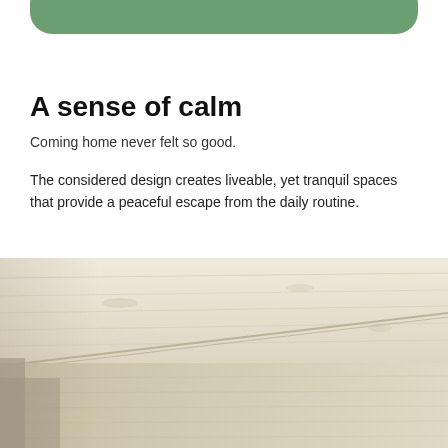[Figure (other): Green rounded rectangle bar at top of page]
A sense of calm
Coming home never felt so good.
The considered design creates liveable, yet tranquil spaces that provide a peaceful escape from the daily routine.
[Figure (photo): Interior photo showing light natural wood/plywood ceiling and walls of a timber-clad room, photographed from a low angle showing architectural details]